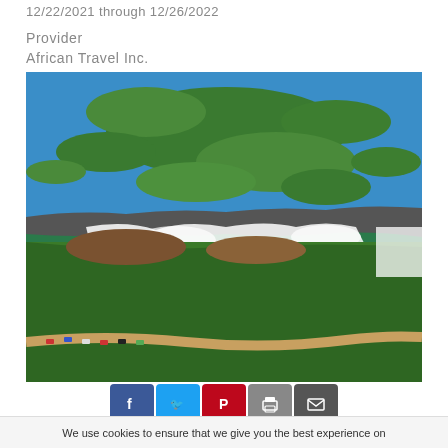12/22/2021 through 12/26/2022
Provider
African Travel Inc.
[Figure (photo): Aerial photograph of Victoria Falls and surrounding river delta with lush green vegetation, blue water, mist from waterfalls, and a winding road with cars at the bottom]
[Figure (other): Social media sharing buttons: Facebook, Twitter, Pinterest, Print, Email]
We use cookies to ensure that we give you the best experience on